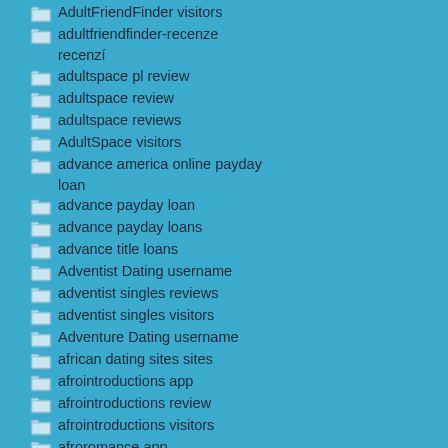AdultFriendFinder visitors
adultfriendfinder-recenze recenzí
adultspace pl review
adultspace review
adultspace reviews
AdultSpace visitors
advance america online payday loan
advance payday loan
advance payday loans
advance title loans
Adventist Dating username
adventist singles reviews
adventist singles visitors
Adventure Dating username
african dating sites sites
afrointroductions app
afrointroductions review
afrointroductions visitors
afroromance app
afroromance reviews
afroromance visitors
Age Gap dating sites reviews